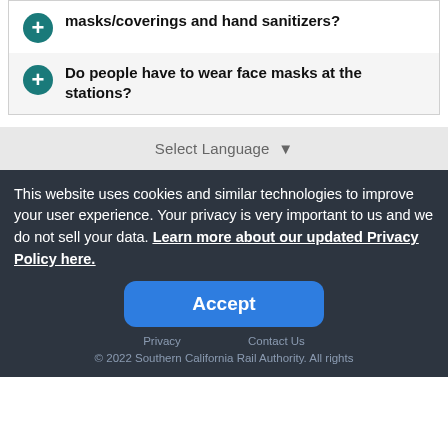masks/coverings and hand sanitizers?
Do people have to wear face masks at the stations?
Select Language ▼
This website uses cookies and similar technologies to improve your user experience. Your privacy is very important to us and we do not sell your data. Learn more about our updated Privacy Policy here.
Accept
Privacy · Contact Us
© 2022 Southern California Rail Authority. All rights reserved.